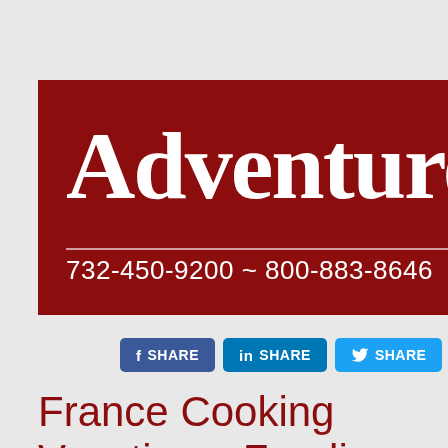[Figure (logo): Adventure Travel company logo banner with dark red background, white serif text reading 'Adventure Tra' (truncated), white horizontal rule, and phone numbers '732-450-9200 ~ 800-883-8646' in white]
[Figure (infographic): Three social share buttons: Facebook SHARE (blue), LinkedIn SHARE (blue), Twitter SHARE (light blue)]
France Cooking Vacations, Foodie Tours